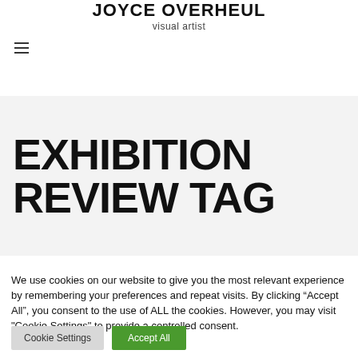JOYCE OVERHEUL visual artist
EXHIBITION REVIEW TAG
We use cookies on our website to give you the most relevant experience by remembering your preferences and repeat visits. By clicking “Accept All”, you consent to the use of ALL the cookies. However, you may visit "Cookie Settings" to provide a controlled consent.
Cookie Settings | Accept All